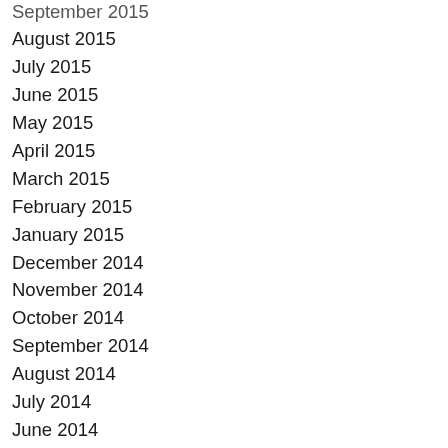September 2015
August 2015
July 2015
June 2015
May 2015
April 2015
March 2015
February 2015
January 2015
December 2014
November 2014
October 2014
September 2014
August 2014
July 2014
June 2014
May 2014
March 2014
January 2014
December 2013
November 2013